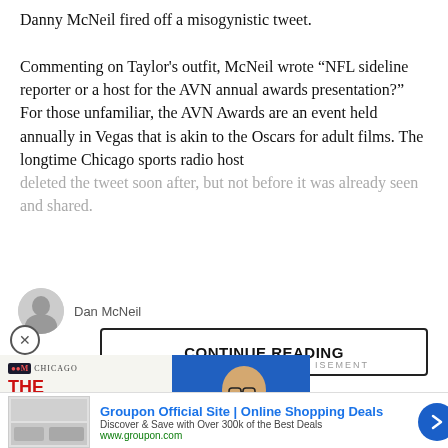Danny McNeil fired off a misogynistic tweet.
Commenting on Taylor's outfit, McNeil wrote “NFL sideline reporter or a host for the AVN annual awards presentation?” For those unfamiliar, the AVN Awards are an event held annually in Vegas that is akin to the Oscars for adult films. The longtime Chicago sports radio host deleted the tweet soon after, but not before it was already seen and shared.
[Figure (screenshot): Author avatar placeholder for Dan McNeil with author name text]
[Figure (screenshot): Continue Reading button overlay]
[Figure (advertisement): The Jason Barrett Podcast ad featuring Paul Finebaum Knows The Power]
[Figure (advertisement): Groupon Official Site | Online Shopping Deals - Discover & Save with Over 300k of the Best Deals - www.groupon.com]